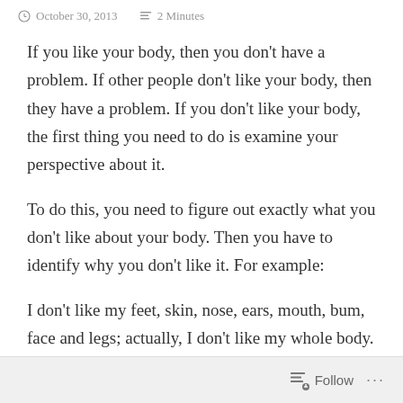October 30, 2013   2 Minutes
If you like your body, then you don't have a problem. If other people don't like your body, then they have a problem. If you don't like your body, the first thing you need to do is examine your perspective about it.
To do this, you need to figure out exactly what you don't like about your body. Then you have to identify why you don't like it. For example:
I don't like my feet, skin, nose, ears, mouth, bum, face and legs; actually, I don't like my whole body.
Follow ...